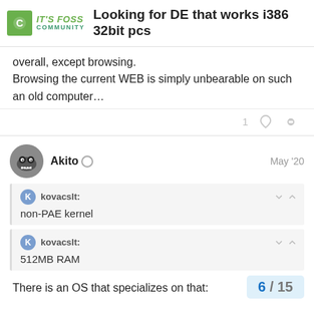IT'S FOSS COMMUNITY — Looking for DE that works i386 32bit pcs
overall, except browsing.
Browsing the current WEB is simply unbearable on such an old computer…
1 ♡ 🔗
Akito  May '20
kovacslt:
non-PAE kernel
kovacslt:
512MB RAM
There is an OS that specializes on that:
6 / 15